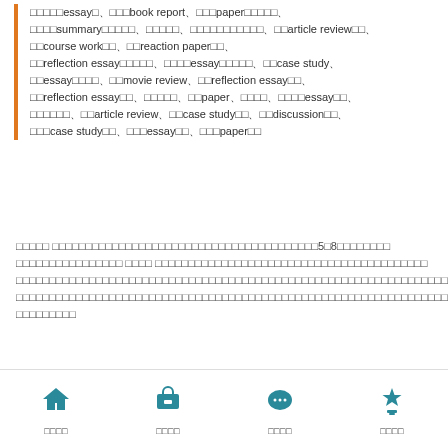□□□□□essay□、□□□book report、□□□paper□□□□□、□□□□summary□□□□□、□□□□□、□□□□□□□□□□□、□□article review□□、□□course work□□、□□reaction paper□□、□□reflection essay□□□□□、□□□□essay□□□□□、□□case study、□□essay□□□□、□□movie review、□□reflection essay□□、□□reflection essay□□、□□□□□、□□paper、□□□□、□□□□essay□□、□□□□□□、□□article review、□□case study□□、□□discussion□□、□□□case study□□、□□□essay□□、□□□paper□□
□□□□□ □□□□□□□□□□□□□□□□□□□□□□□□□□□□□□□□□□□□□□□□5□8□□□□□□□□□□□□□□□□□□□□□□ □□□□ □□□□□□□□□□□□□□□□□□□□□□□□□□□□□□□□□□□□□□□□□□□□□□□□□□□□□□□□□□□□□□□□□□□□□□□□□□□□□□□□□□□□□□□□□□□□□□□□□□□□□□□□□□□□□□□□□□□□□□□□□□□□□□□□□□□□□□□□□□□□□□□□□□□□□□□□□□□□□□□□□□□□□□□□□□□□□□□□□□□□□□□□□□□□□□□□□□□□□□□□□□□□□□□□□□□□□□□□□□
Read more →
Back to Top
□□essay□□□□□□□□□□□□□
□□□□  □□□□  □□□□  □□□□